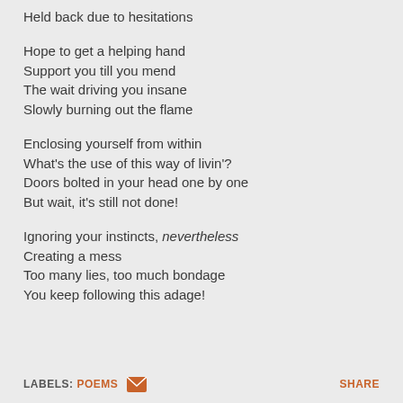Held back due to hesitations
Hope to get a helping hand
Support you till you mend
The wait driving you insane
Slowly burning out the flame
Enclosing yourself from within
What's the use of this way of livin'?
Doors bolted in your head one by one
But wait, it's still not done!
Ignoring your instincts, nevertheless
Creating a mess
Too many lies, too much bondage
You keep following this adage!
LABELS: POEMS   [envelope icon]   SHARE